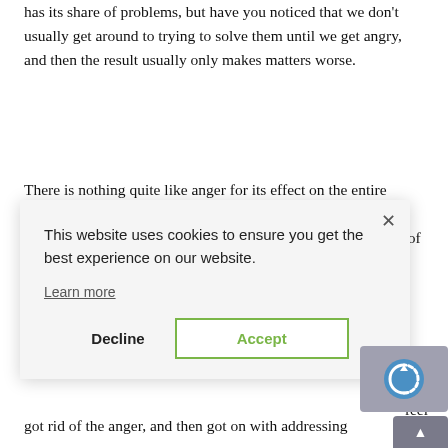has its share of problems, but have you noticed that we don't usually get around to trying to solve them until we get angry, and then the result usually only makes matters worse.
There is nothing quite like anger for its effect on the entire family because when we are angry, we usually hurt the people closest to us. The results are alienation, grief, and, in the case of domestic violence, physical and emotional pain.
[Figure (screenshot): Cookie consent banner overlay with 'X' close button, message 'This website uses cookies to ensure you get the best experience on our website.', a 'Learn more' link, and two buttons: 'Decline' and 'Accept' (green outlined). Behind the banner on the right side, partial text fragments are visible: 'ake it', 'same', 'feel', 'first),', 'ger, I'. A reCAPTCHA badge and Privacy/Terms links appear in the bottom right.]
got rid of the anger, and then got on with addressing